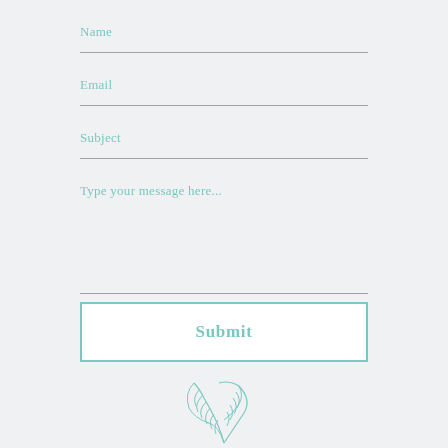Name
Email
Subject
Type your message here...
Submit
[Figure (illustration): Decorative feather/leaf illustration at bottom center of the page, rendered in teal/mint outline style]